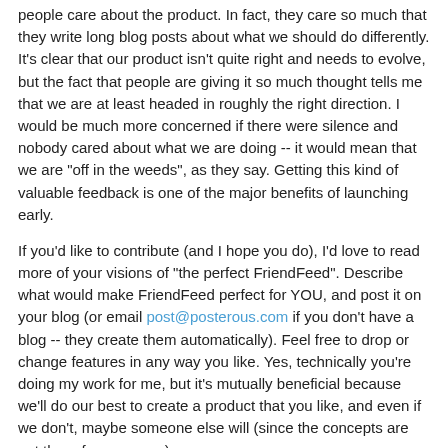people care about the product. In fact, they care so much that they write long blog posts about what we should do differently. It's clear that our product isn't quite right and needs to evolve, but the fact that people are giving it so much thought tells me that we are at least headed in roughly the right direction. I would be much more concerned if there were silence and nobody cared about what we are doing -- it would mean that we are "off in the weeds", as they say. Getting this kind of valuable feedback is one of the major benefits of launching early.
If you'd like to contribute (and I hope you do), I'd love to read more of your visions of "the perfect FriendFeed". Describe what would make FriendFeed perfect for YOU, and post it on your blog (or email post@posterous.com if you don't have a blog -- they create them automatically). Feel free to drop or change features in any way you like. Yes, technically you're doing my work for me, but it's mutually beneficial because we'll do our best to create a product that you like, and even if we don't, maybe someone else will (since the concepts are out there for everyone).